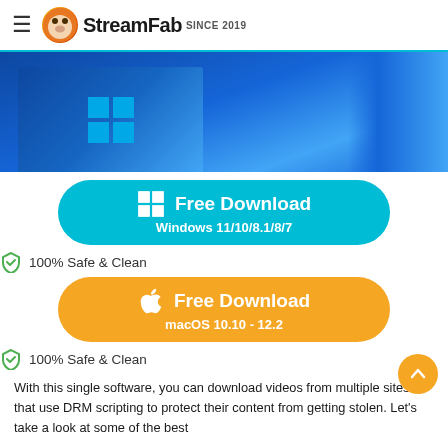StreamFab SINCE 2019
[Figure (illustration): Blue Windows software box with Windows logo on dark blue gradient background]
[Figure (infographic): Free Download button for Windows 11/10/8.1/8/7 in cyan/teal color with Windows logo]
100% Safe & Clean
[Figure (infographic): Free Download button for macOS 10.10 - 12.2 in orange color with Apple logo]
100% Safe & Clean
With this single software, you can download videos from multiple sites that use DRM scripting to protect their content from getting stolen. Let's take a look at some of the best